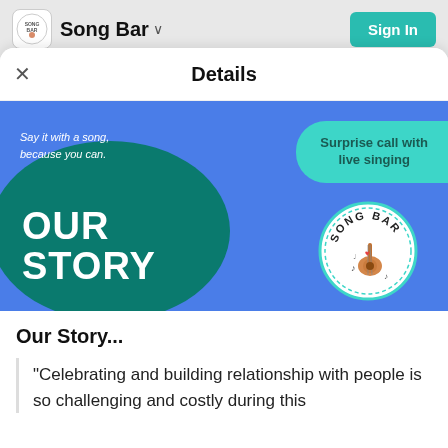Song Bar  Sign In
Details
[Figure (illustration): Song Bar hero banner with blue background, tagline 'Say it with a song, because you can.', teal pill showing 'Surprise call with live singing', dark teal oval with 'OUR STORY' text, and Song Bar circular logo with guitar illustration]
Our Story...
"Celebrating and building relationship with people is so challenging and costly during this